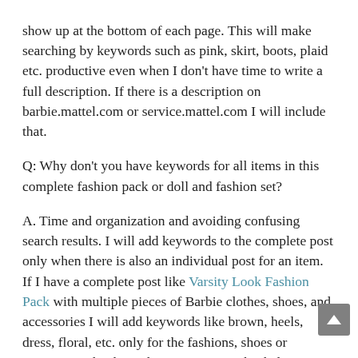show up at the bottom of each page. This will make searching by keywords such as pink, skirt, boots, plaid etc. productive even when I don't have time to write a full description. If there is a description on barbie.mattel.com or service.mattel.com I will include that.
Q: Why don't you have keywords for all items in this complete fashion pack or doll and fashion set?
A. Time and organization and avoiding confusing search results. I will add keywords to the complete post only when there is also an individual post for an item. If I have a complete post like Varsity Look Fashion Pack with multiple pieces of Barbie clothes, shoes, and accessories I will add keywords like brown, heels, dress, floral, etc. only for the fashions, shoes or accessories that have their own posts. This helps me keep track of what items in the fashion pack I have individual pictures for and which I still need to find. This also keeps the search results useful. When you search "pink heels" you want to see a bunch of close-up pictures of just pink heels, not a bunch of pictures of fashion packs that you then need to click on and then try to figure out what in that fashion pack you are really looking for. This is not all good because the...